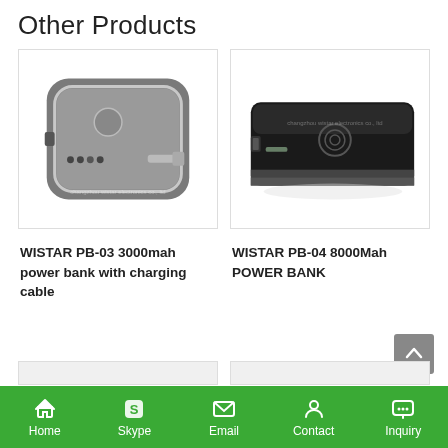Other Products
[Figure (photo): WISTAR PB-03 compact square grey power bank with built-in charging cable and LED indicators, watermark reads 'changzhou wistar electronics co. ltd']
[Figure (photo): WISTAR PB-04 slim black rectangular 8000Mah power bank with wireless charging symbol, watermark reads 'changzhou wistar electronics co. ltd']
WISTAR PB-03 3000mah power bank with charging cable
WISTAR PB-04 8000Mah POWER BANK
Home  Skype  Email  Contact  Inquiry